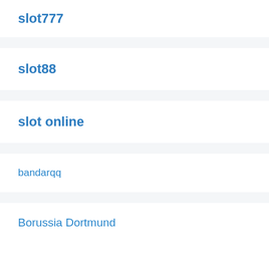slot777
slot88
slot online
bandarqq
Borussia Dortmund